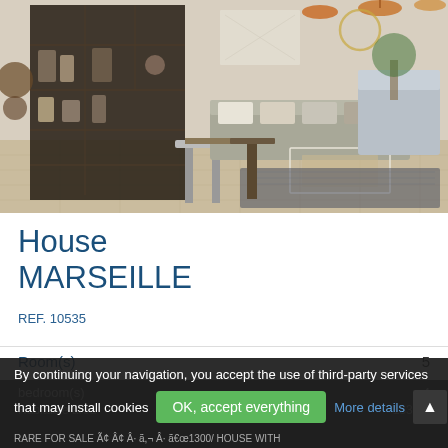[Figure (photo): Interior photo of a decorated living room with shelving unit, sofas, coffee table, rugs, and decorative items in a Bohemian/Mediterranean style]
House
MARSEILLE
REF. 10535
Room(s)    5
bedroom(s)    4
Habitable area    133 m²
By continuing your navigation, you accept the use of third-party services that may install cookies
OK, accept everything
More details
RARE FOR SALE Ã¢ Â¢ Â· ã,¬ Â· ã€œ1300/ HOUSE WITH